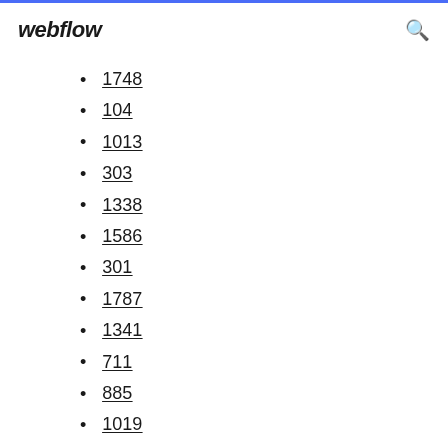webflow
1748
104
1013
303
1338
1586
301
1787
1341
711
885
1019